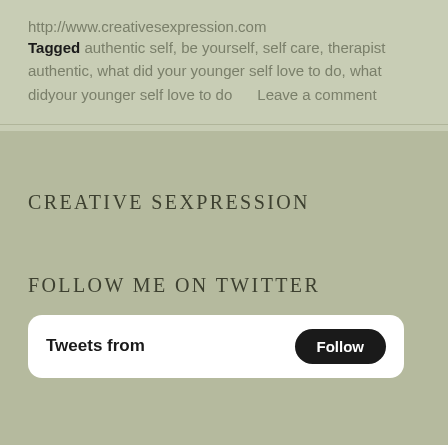http://www.creativesexpression.com
Tagged authentic self, be yourself, self care, therapist authentic, what did your younger self love to do, what didyour younger self love to do    Leave a comment
CREATIVE SEXPRESSION
FOLLOW ME ON TWITTER
[Figure (screenshot): Twitter widget showing 'Tweets from' label with a black 'Follow' button]